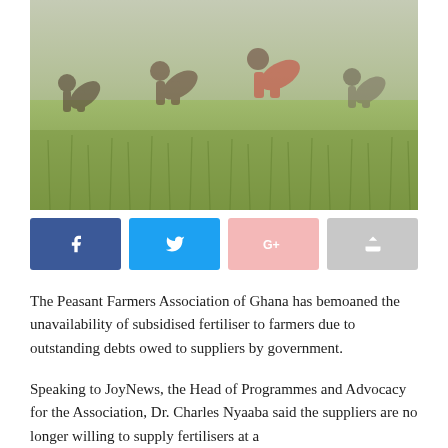[Figure (photo): People bending over and working in a lush green rice or grass field, shot from behind, showing agricultural labor scene]
[Figure (infographic): Social media sharing buttons: Facebook (dark blue), Twitter (light blue), Google+ (light pink), Share (light grey)]
The Peasant Farmers Association of Ghana has bemoaned the unavailability of subsidised fertiliser to farmers due to outstanding debts owed to suppliers by government.
Speaking to JoyNews, the Head of Programmes and Advocacy for the Association, Dr. Charles Nyaaba said the suppliers are no longer willing to supply fertilisers at a subsidised cost.